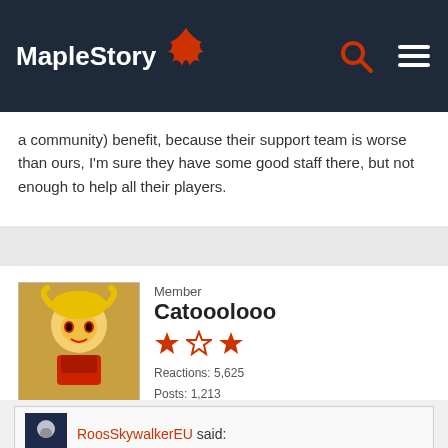MapleStory
a community) benefit, because their support team is worse than ours, I'm sure they have some good staff there, but not enough to help all their players.
Member
Catooolooo
Reactions: 5,625
Posts: 1,213
OCTOBER 2016   EDITED OCTOBER 2016
RoosSkywalkerEU said: